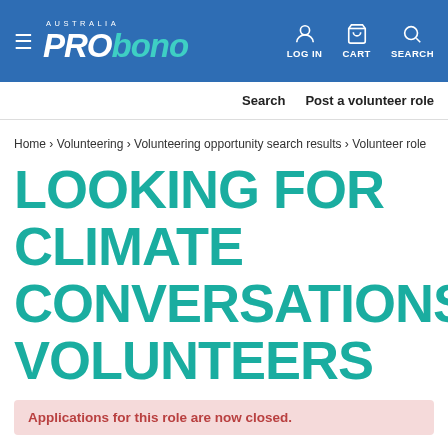PRO bono AUSTRALIA — LOG IN | CART | SEARCH
Search   Post a volunteer role
Home › Volunteering › Volunteering opportunity search results › Volunteer role
LOOKING FOR CLIMATE CONVERSATIONS VOLUNTEERS
Applications for this role are now closed.